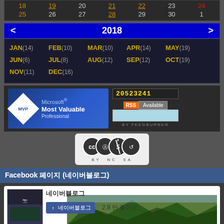| 18 | 19 | 20 | 21 | 22 | 23 | 24 |
| 25 | 26 | 27 | 28 | 29 | 30 | 1 |
< 2018 >
JAN(14) FEB(10) MAR(10) APR(14) MAY(19)
JUN(6) JUL(8) AUG(12) SEP(12) OCT(19)
NOV(11) DEC(16)
[Figure (logo): Microsoft MVP Most Valuable Professional badge]
20523241
[Figure (logo): RSS Available - FeedBurner]
[Figure (logo): Creative Commons BY NC SA license badge]
Facebook 페이지 (네이버블로그)
[Figure (screenshot): Facebook page widget showing profile with mountain landscape background, page name in Korean, Like button, and 2.9만 좋아요 count]